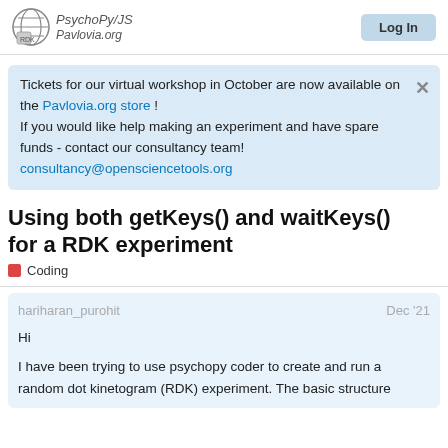PsychoPy/JS Pavlovia.org
Tickets for our virtual workshop in October are now available on the Pavlovia.org store ! If you would like help making an experiment and have spare funds - contact our consultancy team! consultancy@opensciencetools.org
Using both getKeys() and waitKeys() for a RDK experiment
Coding
hariharan_purohit Dec '21
Hi

I have been trying to use psychopy coder to create and run a random dot kinetogram (RDK) experiment. The basic structure